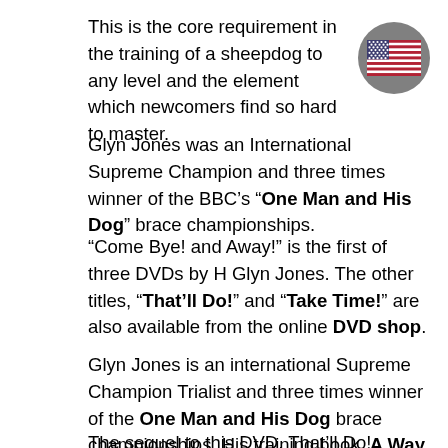This is the core requirement in the training of a sheepdog to any level and the element which newcomers find so hard to master.
[Figure (illustration): A circular grey badge with a US flag icon in the center]
Glyn Jones was an International Supreme Champion and three times winner of the BBC’s “One Man and His Dog” brace championships.
“Come Bye! and Away!” is the first of three DVDs by H Glyn Jones. The other titles, “That’ll Do!” and “Take Time!” are also available from the online DVD shop.
Glyn Jones is an international Supreme Champion Trialist and three times winner of the One Man and His Dog brace championships. His training book, A Way of Life: Sheepdog Training, Handling and Trialling, has proved outstandingly popular.
The sequel to this DVD, That’ll Do!, shows how to train